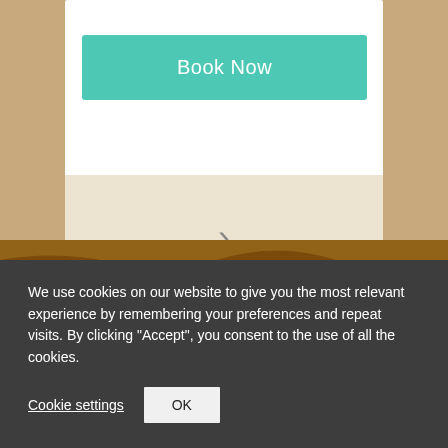[Figure (screenshot): Website UI showing a 'Book Now' teal button on a white card over a beige/wood-texture background, with a right-chevron navigation arrow below]
We use cookies on our website to give you the most relevant experience by remembering your preferences and repeat visits. By clicking “Accept”, you consent to the use of all the cookies.
Cookie settings
OK